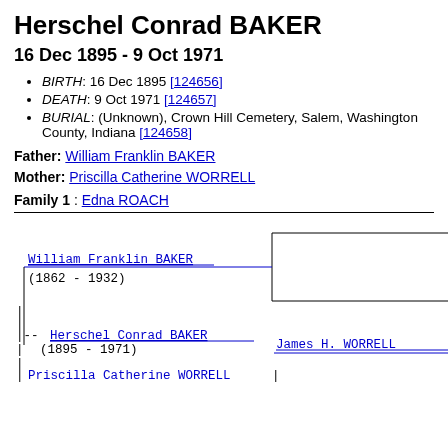Herschel Conrad BAKER
16 Dec 1895 - 9 Oct 1971
BIRTH: 16 Dec 1895 [124656]
DEATH: 9 Oct 1971 [124657]
BURIAL: (Unknown), Crown Hill Cemetery, Salem, Washington County, Indiana [124658]
Father: William Franklin BAKER
Mother: Priscilla Catherine WORRELL
Family 1 : Edna ROACH
[Figure (other): Genealogy pedigree tree showing William Franklin BAKER (1862-1932) and Herschel Conrad BAKER (1895-1971) with connecting lines to ancestors including James H. WORRELL and a partial entry for Priscilla Catherine WORRELL]